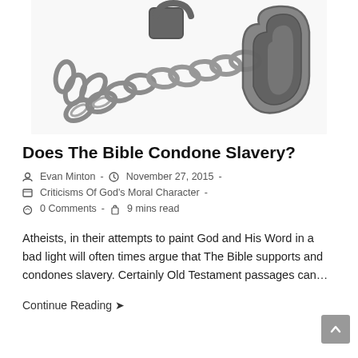[Figure (photo): A photograph of metal chains and a shackle/cuff on a white background, suggesting slavery or bondage.]
Does The Bible Condone Slavery?
Evan Minton  -  November 27, 2015  -  Criticisms Of God's Moral Character  -  0 Comments  -  9 mins read
Atheists, in their attempts to paint God and His Word in a bad light will often times argue that The Bible supports and condones slavery. Certainly Old Testament passages can…
Continue Reading